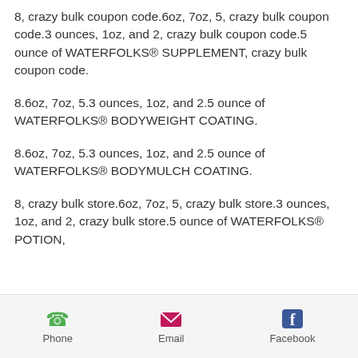8, crazy bulk coupon code.6oz, 7oz, 5, crazy bulk coupon code.3 ounces, 1oz, and 2, crazy bulk coupon code.5 ounce of WATERFOLKS® SUPPLEMENT, crazy bulk coupon code.
8.6oz, 7oz, 5.3 ounces, 1oz, and 2.5 ounce of WATERFOLKS® BODYWEIGHT COATING.
8.6oz, 7oz, 5.3 ounces, 1oz, and 2.5 ounce of WATERFOLKS® BODYMULCH COATING.
8, crazy bulk store.6oz, 7oz, 5, crazy bulk store.3 ounces, 1oz, and 2, crazy bulk store.5 ounce of WATERFOLKS® POTION,
Phone   Email   Facebook